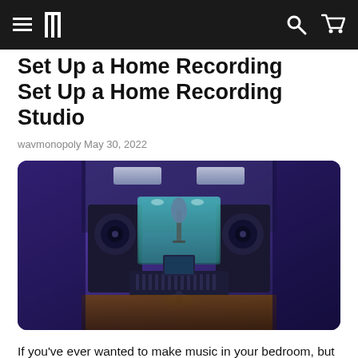wavmonopoly — navigation bar with hamburger menu, logo, search and cart icons
Set Up a Home Recording Studio
wavmonopoly May 30, 2022
[Figure (illustration): Illustrated image of a home recording studio with monitor speakers, mixing console, computer screen, microphone in vocal booth, and studio chair, in a dark purple-toned room.]
If you've ever wanted to make music in your bedroom, but don't know how to set up a home recording studio, then this blog post is for you. Home recording studios are no